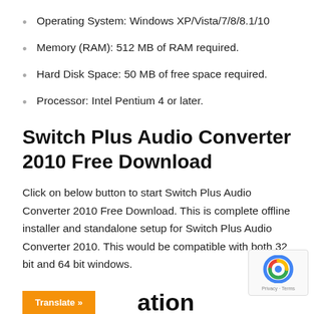Operating System: Windows XP/Vista/7/8/8.1/10
Memory (RAM): 512 MB of RAM required.
Hard Disk Space: 50 MB of free space required.
Processor: Intel Pentium 4 or later.
Switch Plus Audio Converter 2010 Free Download
Click on below button to start Switch Plus Audio Converter 2010 Free Download. This is complete offline installer and standalone setup for Switch Plus Audio Converter 2010. This would be compatible with both 32 bit and 64 bit windows.
[Figure (other): reCAPTCHA widget with privacy and terms links]
Translate »
ation